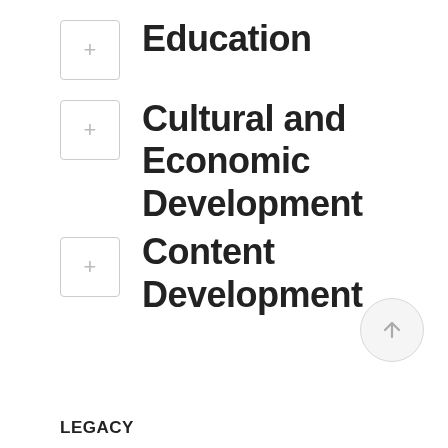Education
Cultural and Economic Development
Content Development
LEGACY